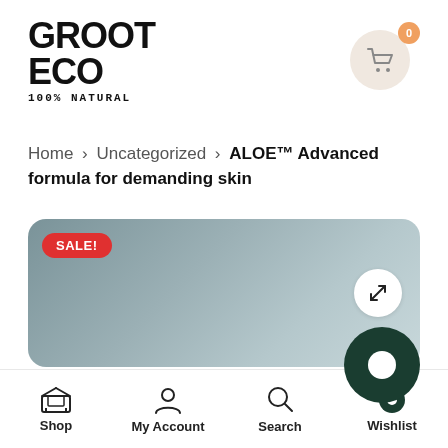[Figure (logo): Groot Eco 100% Natural brand logo in black bold text]
[Figure (other): Shopping cart icon with badge showing 0 items]
Home › Uncategorized › ALOE™ Advanced formula for demanding skin
[Figure (photo): Product image area with grey-blue gradient background, SALE! badge in red, and expand icon button]
[Figure (other): Bottom navigation bar with Shop, My Account, Search, and Wishlist icons]